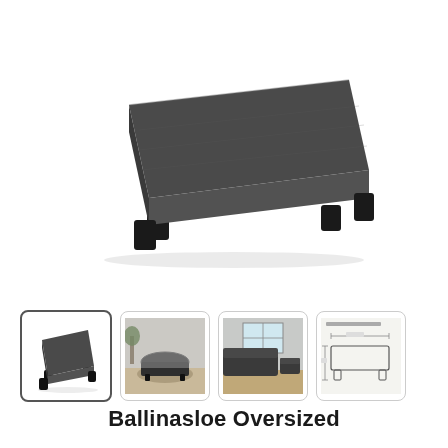[Figure (photo): Main product photo of Ballinasloe Oversized Accent Ottoman in charcoal/dark grey fabric with four black block legs, shown in three-quarter perspective view on white background]
[Figure (photo): Thumbnail 1 (selected): Small product image of the ottoman alone, charcoal fabric, black legs]
[Figure (photo): Thumbnail 2: Lifestyle photo of the ottoman on a rug with plants in background]
[Figure (photo): Thumbnail 3: Room scene with sectional sofa and ottoman]
[Figure (engineering-diagram): Dimensional diagram of the ottoman showing top/side measurements]
Ballinasloe Oversized